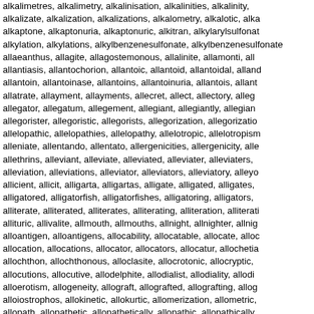alkalimetres, alkalimetry, alkalinisation, alkalinities, alkalinity, alkalizate, alkalization, alkalizations, alkalometry, alkalotic, alkaptone, alkaptonuria, alkaptonuric, alkitran, alkylarylsulfona, alkylation, alkylations, alkylbenzenesulfonate, alkylbenzenesulfonate, allaeanthus, allagite, allagostemonous, allalinite, allamonti, allantiasis, allantochorion, allantoic, allantoid, allantoidal, allantoin, allantoinase, allantoins, allantoinuria, allantois, allatrate, allayment, allayments, allecret, allect, allectory, allegator, allegatum, allegement, allegiant, allegiantly, allegian, allegorister, allegoristic, allegorists, allegorization, allegorizatio, allelopathic, allelopathies, allelopathy, allelotropic, allelotropism, alleniate, allentando, allentato, allergenicities, allergenicity, allethrinss, alleviant, alleviate, alleviated, alleviater, alleviaters, alleviation, alleviations, alleviator, alleviators, alleviatory, alleyc, allicient, allicit, alligarta, alligartas, alligate, alligated, alligates, alligatored, alligatorfish, alligatorfishes, alligatoring, alligators, alliterate, alliterated, alliterates, alliterating, alliteration, alliterati, allituric, allivalite, allmouth, allmouths, allnight, allnighter, allnig, alloantigen, alloantigens, allocability, allocatable, allocate, alloc, allocation, allocations, allocator, allocators, allocatur, allochetia, allochthon, allochthonous, alloclasite, allocrotonic, allocryptic, allocutions, allocutive, allodelphite, allodialist, allodiality, allodi, alloerotism, allogeneity, allograft, allografted, allografting, allog, alloiostrophos, allokinetic, allokurtic, allomerization, allometric, allopath, allopathetic, allopathetically, allopathic, allopathically, allopaths, allopathy, allopatric, allopatrically, allopatrios, allop